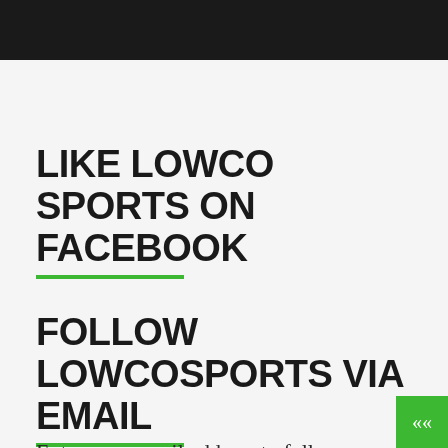[Figure (screenshot): Dark/black header image strip at the top of the page]
LIKE LOWCO SPORTS ON FACEBOOK
FOLLOW LOWCOSPORTS VIA EMAIL
Enter your email address to follow LowcoSports and receive notifications of new posts by email.